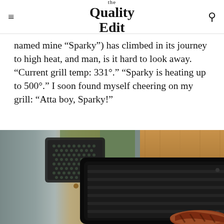the Quality Edit
named mine “Sparky”) has climbed in its journey to high heat, and man, is it hard to look away. “Current grill temp: 331°.” “Sparky is heating up to 500°.” I soon found myself cheering on my grill: “Atta boy, Sparky!”
[Figure (photo): Close-up photo of a black grill grate with a piece of meat visible at the bottom right, next to a perforated black basket accessory and a wooden cutting board in the background.]